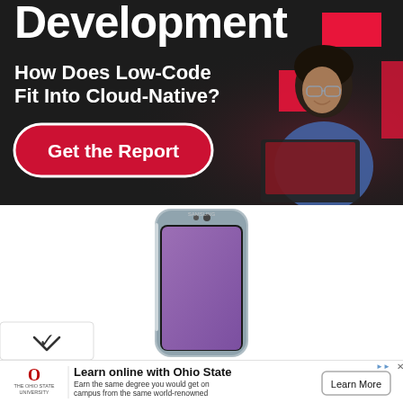[Figure (infographic): Advertisement banner with dark background showing 'Development / How Does Low-Code Fit Into Cloud-Native?' headline, a 'Get the Report' CTA button in red, decorative red rectangles, and a person using a laptop in the background.]
[Figure (photo): Samsung smartphone with blue/silver body and purple gradient screen display, shown against white background.]
[Figure (infographic): Bottom ad banner for Ohio State University Online learning with logo, text 'Learn online with Ohio State', description, and Learn More button.]